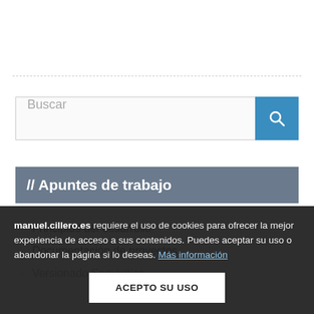[Figure (other): Dashed horizontal separator line]
[Figure (other): Search bar with blue search button and magnifying glass icon]
// Apuntes de trabajo
Principios del desarrollo
Documentación de proyectos
Versionado Semántico
Fundamentos de...
Documentar co...
Una estructura para los proyectos
manuel.cillero.es requiere el uso de cookies para ofrecer la mejor experiencia de acceso a sus contenidos. Puedes aceptar su uso o abandonar la página si lo deseas. Más información
ACEPTO SU USO